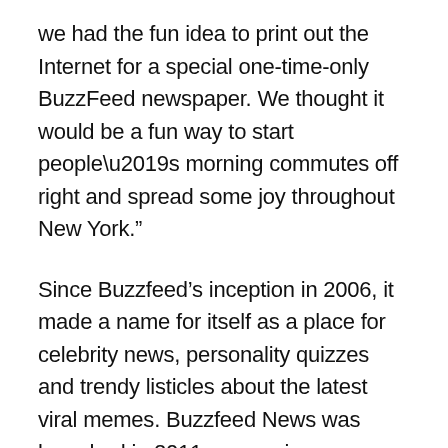we had the fun idea to print out the Internet for a special one-time-only BuzzFeed newspaper. We thought it would be a fun way to start people’s morning commutes off right and spread some joy throughout New York.”
Since Buzzfeed’s inception in 2006, it made a name for itself as a place for celebrity news, personality quizzes and trendy listicles about the latest viral memes. Buzzfeed News was launched in 2011 as a serious journalism alternative side to Buzzfeed’s main brand of content. The setup worked well for the company for many years. Buzzfeed’s main branch would continue talking about the Kardashians and the meme of the week, all while using the profits of clickbait to subsidize the rest of their journalistic